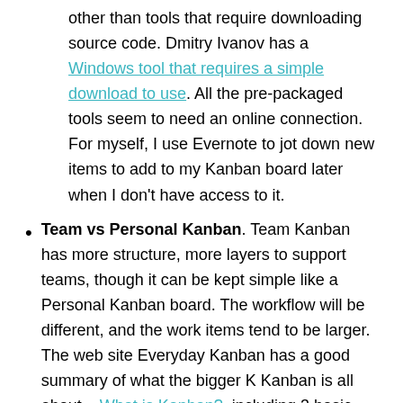other than tools that require downloading source code. Dmitry Ivanov has a Windows tool that requires a simple download to use. All the pre-packaged tools seem to need an online connection. For myself, I use Evernote to jot down new items to add to my Kanban board later when I don't have access to it.
Team vs Personal Kanban. Team Kanban has more structure, more layers to support teams, though it can be kept simple like a Personal Kanban board. The workflow will be different, and the work items tend to be larger. The web site Everyday Kanban has a good summary of what the bigger K Kanban is all about – What is Kanban?, including 3 basic principles and 5 core properties.